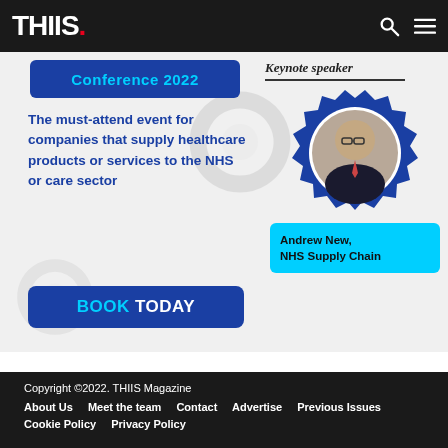THIIS.
[Figure (infographic): Conference 2022 advertisement banner for THIIS showing keynote speaker Andrew New from NHS Supply Chain inside a blue gear/cog icon. Text: The must-attend event for companies that supply healthcare products or services to the NHS or care sector. BOOK TODAY button.]
Copyright ©2022. THIIS Magazine
About Us   Meet the team   Contact   Advertise   Previous Issues
Cookie Policy   Privacy Policy